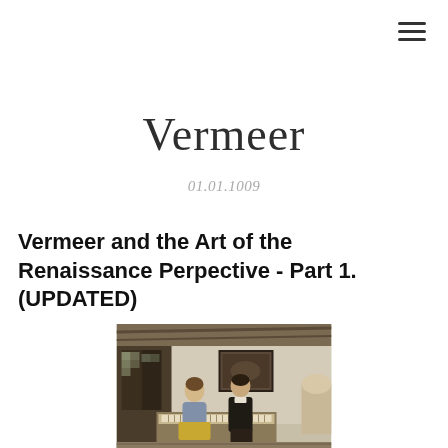≡
Vermeer
01.01.1009
Vermeer and the Art of the Renaissance Perpective - Part 1. (UPDATED)
[Figure (photo): A Vermeer painting showing an interior scene with two figures standing near a keyboard instrument, with a window on the left and a framed painting on the wall in the background.]